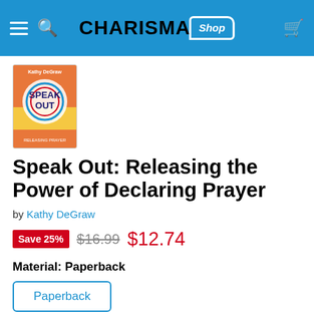CHARISMA Shop
[Figure (illustration): Book cover thumbnail for 'Speak Out: Releasing the Power of Declaring Prayer' by Kathy DeGraw. Colorful cover with circular design and warm tones.]
Speak Out: Releasing the Power of Declaring Prayer
by Kathy DeGraw
Save 25%  $16.99  $12.74
Material: Paperback
Paperback
Quantity
Add to cart